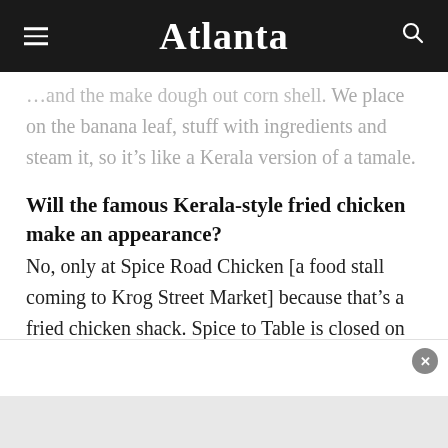Atlanta
…and the make dough out corn shell. We place on the banana leaf, stuff with ingredients and steam it, so it's like a Kerala version of a tamale.
Will the famous Kerala-style fried chicken make an appearance?
No, only at Spice Road Chicken [a food stall coming to Krog Street Market] because that's a fried chicken shack. Spice to Table is closed on Mondays, and I'm seriously considering Monday night pop-up dinners